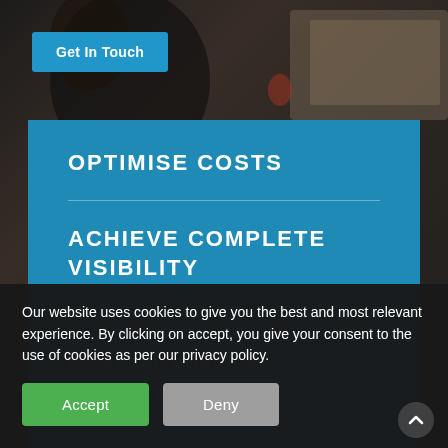[Figure (photo): Dark blurred background photo of people in an office or meeting setting]
Get In Touch
OPTIMISE COSTS
ACHIEVE COMPLETE VISIBILITY
INCREASE BUSINESS
MANAGE RISK AND COMP...
Our website uses cookies to give you the best and most relevant experience. By clicking on accept, you give your consent to the use of cookies as per our privacy policy.
Accept
Deny